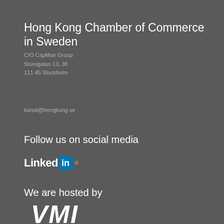Hong Kong Chamber of Commerce in Sweden
C/O CapMan Group
Sturegatan 13, 3fl
111 45 Stockholm
kansli@hongkong.se
Follow us on social media
[Figure (logo): LinkedIn logo with 'Linked' in white bold text and 'in' in white on blue rounded square, followed by registered trademark symbol]
We are hosted by
[Figure (logo): VMI IT SERVICES logo in large bold white italic letters]